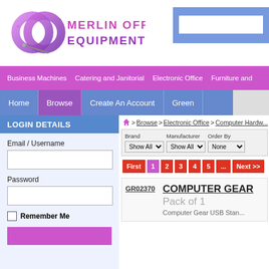[Figure (logo): Merlin Office Equipment Ltd logo with two interlocked ring shapes in purple/pink gradient and stylized text]
Business Machines | Catering and Janitorial | Electronic Office | Furniture and ...
Home | Browse | Create An Account | Green
LOGIN DETAILS
Email / Username
Password
Remember Me
Browse > Electronic Office > Computer Hardw...
Brand Show All  |  Manufacturer Show All  |  Order By None
First 1 2 3 4 5 ... Next >>
GR02370
COMPUTER GEAR
Pack of 1
Computer Gear USB Stan...